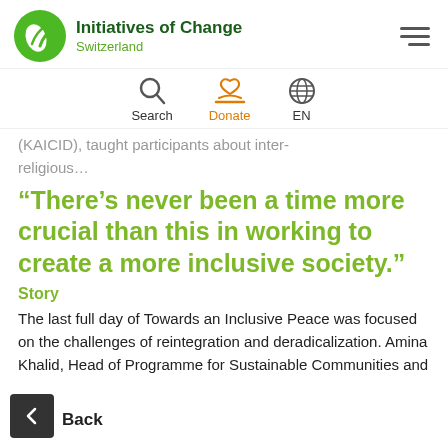Initiatives of Change Switzerland
[Figure (logo): Green circular logo with a leaf/sprout icon for Initiatives of Change Switzerland]
Search   Donate   EN
(KAICID), taught participants about inter-religious...
“There’s never been a time more crucial than this in working to create a more inclusive society.”
Story
The last full day of Towards an Inclusive Peace was focused on the challenges of reintegration and deradicalization. Amina Khalid, Head of Programme for Sustainable Communities and